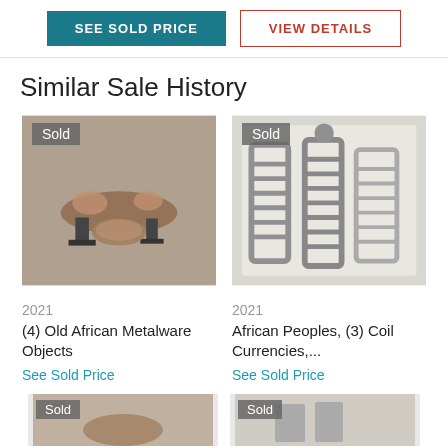SEE SOLD PRICE | VIEW DETAILS
Similar Sale History
[Figure (photo): Photo of (4) Old African Metalware Objects with Sold badge]
2021
(4) Old African Metalware Objects
See Sold Price
[Figure (photo): Photo of African Peoples (3) Coil Currencies with Sold badge]
2021
African Peoples, (3) Coil Currencies,...
See Sold Price
[Figure (photo): Partial photo bottom left with Sold badge]
[Figure (photo): Partial photo bottom right with Sold badge]